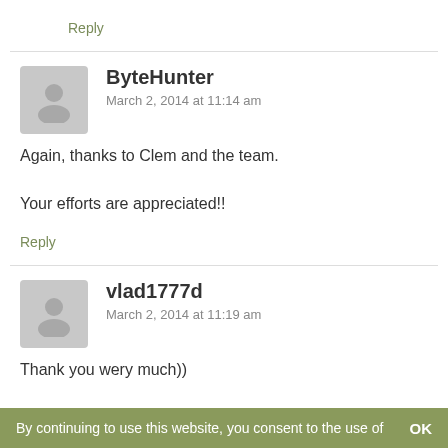Reply
[Figure (illustration): Generic user avatar placeholder (grey silhouette of a person on grey background)]
ByteHunter
March 2, 2014 at 11:14 am
Again, thanks to Clem and the team.

Your efforts are appreciated!!
Reply
[Figure (illustration): Generic user avatar placeholder (grey silhouette of a person on grey background)]
vlad1777d
March 2, 2014 at 11:19 am
Thank you wery much))
By continuing to use this website, you consent to the use of   OK